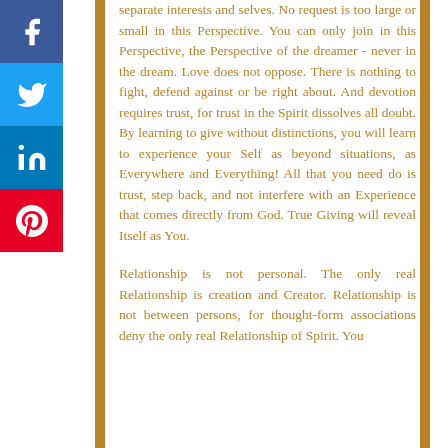[Figure (infographic): Social media share buttons sidebar: Facebook (blue), Twitter (light blue), LinkedIn (dark blue), Pinterest (red), each with white icon]
separate interests and selves. No request is too large or small in this Perspective. You can only join in this Perspective, the Perspective of the dreamer - never in the dream. Love does not oppose. There is nothing to fight, defend against or be right about. And devotion requires trust, for trust in the Spirit dissolves all doubt. By learning to give without distinctions, you will learn to experience your Self as beyond situations, as Everywhere and Everything! All that you need do is trust, step back, and not interfere with an Experience that comes directly from God. True Giving will reveal Itself as You.
Relationship is not personal. The only real Relationship is creation and Creator. Relationship is not between persons, for thought-form associations deny the only real Relationship of Spirit. You